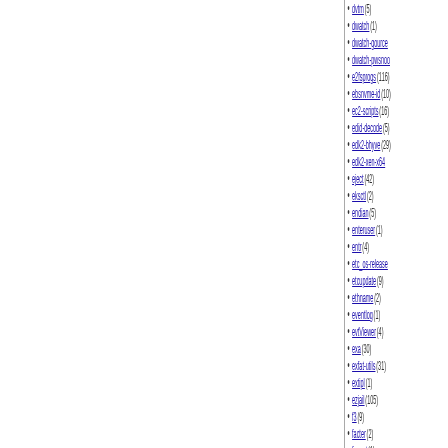dvtm (5)
dwatch (1)
dwatch-gource
dwatch-pwsnoo
e2fsprogs (116)
ebsnvme-id (10)
ec2-scripts (16)
edid-decode (5)
edk2-bhyve (29)
edk2-xen-x64
eject (42)
eksctl (2)
endian (5)
enteruser (1)
entr (4)
etc_os-release
etcupdate (9)
ethname (2)
eventlog (1)
evtViewer (4)
exa (30)
exfat-utils (31)
extipl (1)
ezjail (105)
f3 (9)
facter (2)
fanout (1)
fastest_cvsup
fatback (3)
fcode-utils (1)
fconfig (1)
fcron (7)
fd-find (6)
fdupes (45)
fetchlog (1)
ffs2recov (3)
file (76)
filedupe (1)
filelight (35)
filelight-kde4 (2)
filemon (2)